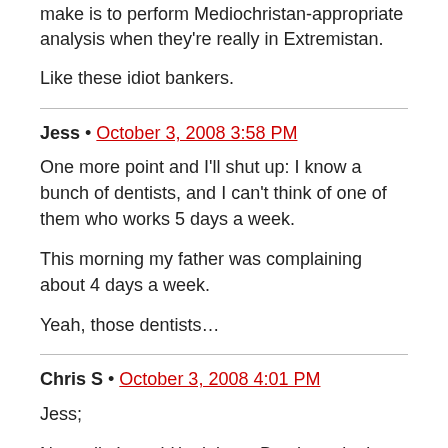make is to perform Mediochristan-appropriate analysis when they’re really in Extremistan.
Like these idiot bankers.
Jess • October 3, 2008 3:58 PM
One more point and I’ll shut up: I know a bunch of dentists, and I can’t think of one of them who works 5 days a week.
This morning my father was complaining about 4 days a week.
Yeah, those dentists…
Chris S • October 3, 2008 4:01 PM
Jess;
Normally I would look it up. But the point in the interview was in regard to an answer where I guess, not where I actually research it.
So, I guessed. Granted, I guessed the individual